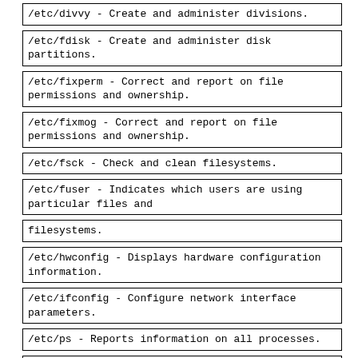/etc/divvy - Create and administer divisions.
/etc/fdisk - Create and administer disk partitions.
/etc/fixperm - Correct and report on file permissions and ownership.
/etc/fixmog - Correct and report on file permissions and ownership.
/etc/fsck - Check and clean filesystems.
/etc/fuser - Indicates which users are using particular files and
filesystems.
/etc/hwconfig - Displays hardware configuration information.
/etc/ifconfig - Configure network interface parameters.
/etc/ps - Reports information on all processes.
/tcb/bin/authck - Examine and correct system security files.